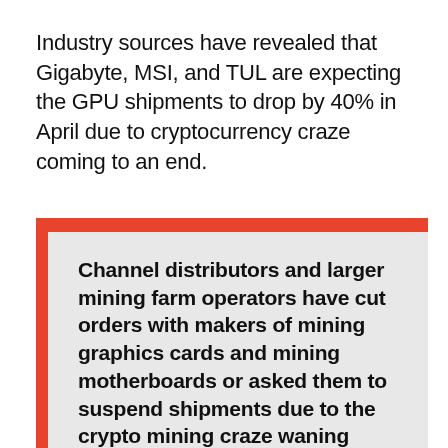Industry sources have revealed that Gigabyte, MSI, and TUL are expecting the GPU shipments to drop by 40% in April due to cryptocurrency craze coming to an end.
Channel distributors and larger mining farm operators have cut orders with makers of mining graphics cards and mining motherboards or asked them to suspend shipments due to the crypto mining craze waning abruptly from the beginning of April, the sources said.